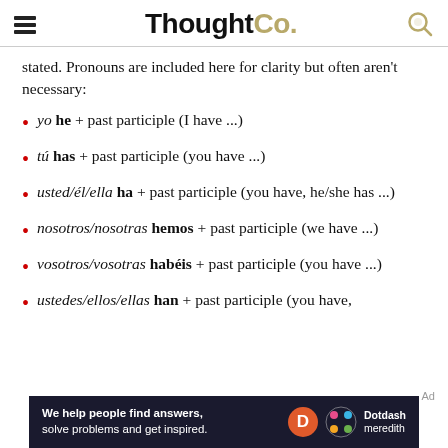ThoughtCo.
stated. Pronouns are included here for clarity but often aren't necessary:
yo he + past participle (I have ...)
tú has + past participle (you have ...)
usted/él/ella ha + past participle (you have, he/she has ...)
nosotros/nosotras hemos + past participle (we have ...)
vosotros/vosotras habéis + past participle (you have ...)
ustedes/ellos/ellas han + past participle (you have,
[Figure (other): Dotdash Meredith advertisement banner: 'We help people find answers, solve problems and get inspired.']